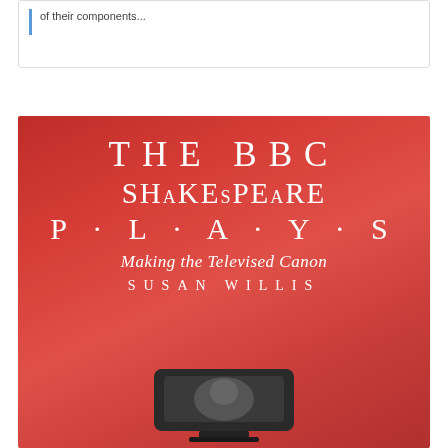of their components...
[Figure (illustration): Book cover of 'The BBC Shakespeare Plays: Making the Televised Canon' by Susan Willis. Red gradient background with white spaced lettering for title and author name, italic subtitle, and a black-and-white television image at the bottom.]